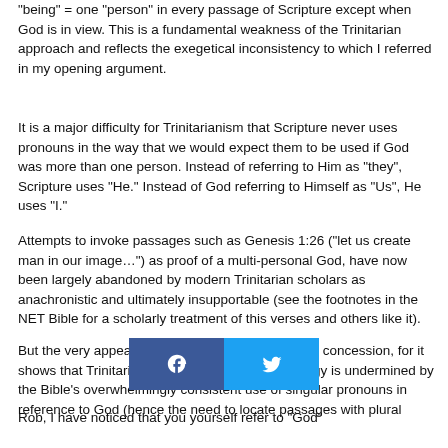“being” = one “person” in every passage of Scripture except when God is in view. This is a fundamental weakness of the Trinitarian approach and reflects the exegetical inconsistency to which I referred in my opening argument.
It is a major difficulty for Trinitarianism that Scripture never uses pronouns in the way that we would expect them to be used if God was more than one person. Instead of referring to Him as “they”, Scripture uses “He.” Instead of God referring to Himself as “Us”, He uses “I.”
Attempts to invoke passages such as Genesis 1:26 (“let us create man in our image…”) as proof of a multi-personal God, have now been largely abandoned by modern Trinitarian scholars as anachronistic and ultimately insupportable (see the footnotes in the NET Bible for a scholarly treatment of this verses and others like it).
But the very appeal to such verses is itself a major concession, for it shows that Trinitarians are aware that their theology is undermined by the Bible’s overwhelmingly consistent use of singular pronouns in reference to God (hence the need to locate passages with plural pronouns). Thus it is evident that Trinitarianism has admitted the strength of this Unitarian argument and finds itself lacking a coherent Biblical response.
[Figure (infographic): Social share buttons: Facebook (blue) and Twitter (light blue) icons side by side]
Rob, I have noticed that you yourself refer to “God” as “it” in some passages. If the Trinitarian “God” is...